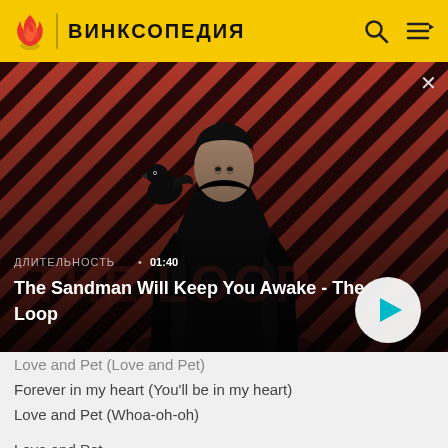ВИНКСОПЕДИЯ
[Figure (screenshot): Video thumbnail showing a dark-cloaked figure with a raven on their shoulder against a diagonal red and black striped background. Text overlay shows duration and title.]
Love and Pet (Love and Pet)
Forever in my heart (You'll be in my heart)
Love and Pet (Whoa-oh-oh)
Love and Pet
Magical puppies